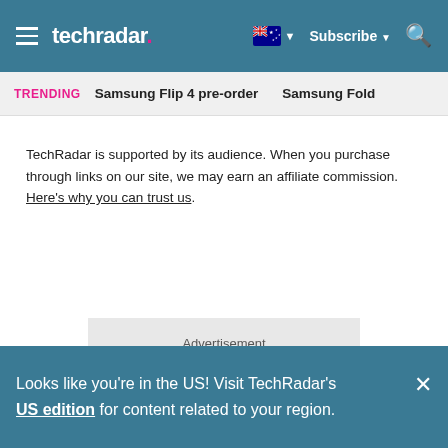techradar | Subscribe | [Australia flag]
TRENDING   Samsung Flip 4 pre-order   Samsung Fold
TechRadar is supported by its audience. When you purchase through links on our site, we may earn an affiliate commission. Here's why you can trust us.
Advertisement
Looks like you're in the US! Visit TechRadar's US edition for content related to your region.